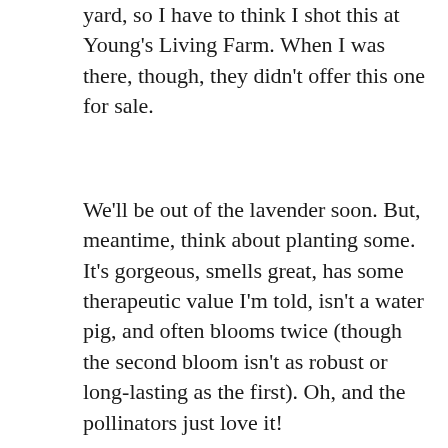yard, so I have to think I shot this at Young's Living Farm. When I was there, though, they didn't offer this one for sale.
We'll be out of the lavender soon. But, meantime, think about planting some. It's gorgeous, smells great, has some therapeutic value I'm told, isn't a water pig, and often blooms twice (though the second bloom isn't as robust or long-lasting as the first). Oh, and the pollinators just love it!
[Figure (photo): Close-up macro photograph of a white lavender flower bloom against a soft green bokeh background.]